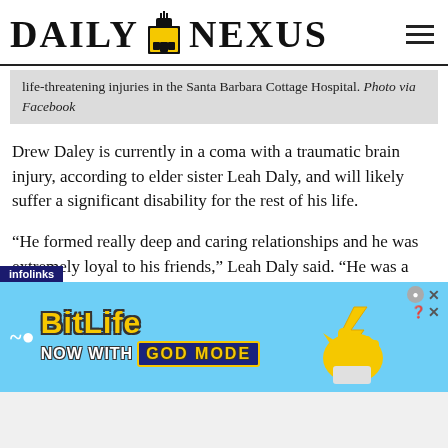DAILY NEXUS
life-threatening injuries in the Santa Barbara Cottage Hospital. Photo via Facebook
Drew Daley is currently in a coma with a traumatic brain injury, according to elder sister Leah Daly, and will likely suffer a significant disability for the rest of his life.
“He formed really deep and caring relationships and he was extremely loyal to his friends,” Leah Daly said. “He was a goofball and he was a little bit of a mischievous kid. He liked to skateboard.”
[Figure (screenshot): Advertisement banner for BitLife mobile game: 'NOW WITH GOD MODE' on a light blue background with cartoon hand graphic]